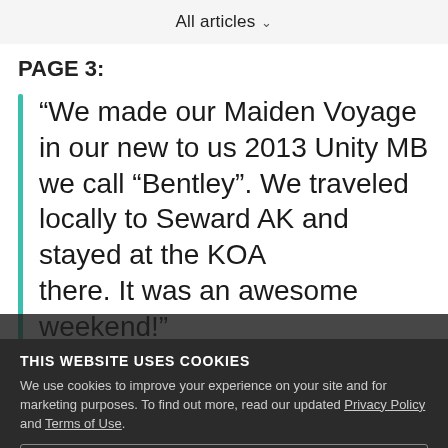All articles
PAGE 3:
“We made our Maiden Voyage in our new to us 2013 Unity MB we call “Bentley”. We traveled locally to Seward AK and stayed at the KOA there. It was an awesome weekend!”
THIS WEBSITE USES COOKIES
We use cookies to improve your experience on your site and for marketing purposes. To find out more, read our updated Privacy Policy and Terms of Use.
Cookie Settings
Accept All Cookies